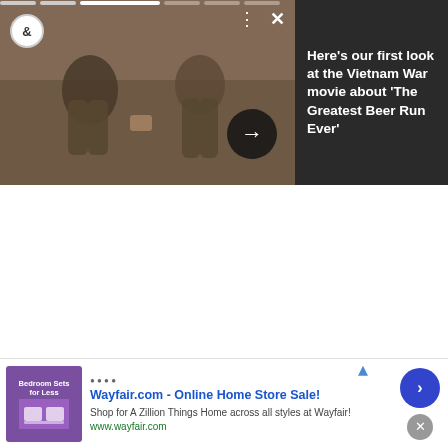[Figure (screenshot): Video player showing a Vietnam War movie scene with two soldiers, with news card showing headline about 'The Greatest Beer Run Ever']
Here's our first look at the Vietnam War movie about 'The Greatest Beer Run Ever'
[Figure (photo): Medical advertisement: 'But he can help end it. Join the study that could change everything' with GET STARTED button and close-up of man's face]
The information — housed on a dot-org website run by
[Figure (screenshot): Wayfair.com advertisement: 'Wayfair.com - Online Home Store Sale! Shop for A Zillion Things Home across all styles at Wayfair! www.wayfair.com']